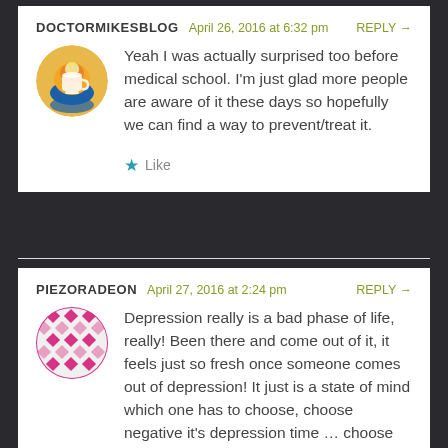DOCTORMIKESBLOG   April 26, 2016 at 6:32 pm   REPLY →
[Figure (illustration): Circular avatar with a stylized cup/coffee mug logo with a sunset and ocean background]
Yeah I was actually surprised too before medical school. I'm just glad more people are aware of it these days so hopefully we can find a way to prevent/treat it.
★ Like
PIEZORADEON   April 27, 2016 at 2:24 pm   REPLY →
[Figure (illustration): Circular avatar with a pink/magenta geometric diamond grid pattern]
Depression really is a bad phase of life, really! Been there and come out of it, it feels just so fresh once someone comes out of depression! It just is a state of mind which one has to choose, choose negative it's depression time … choose